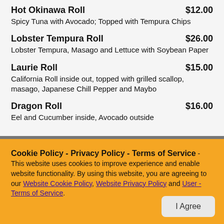Hot Okinawa Roll $12.00 - Spicy Tuna with Avocado; Topped with Tempura Chips
Lobster Tempura Roll $26.00 - Lobster Tempura, Masago and Lettuce with Soybean Paper
Laurie Roll $15.00 - California Roll inside out, topped with grilled scallop, masago, Japanese Chill Pepper and Maybo
Dragon Roll $16.00 - Eel and Cucumber inside, Avocado outside
Cookie Policy - Privacy Policy - Terms of Service - This website uses cookies to improve experience and enable website functionality. By using this website, you are agreeing to our Website Cookie Policy, Website Privacy Policy and User - Terms of Service.